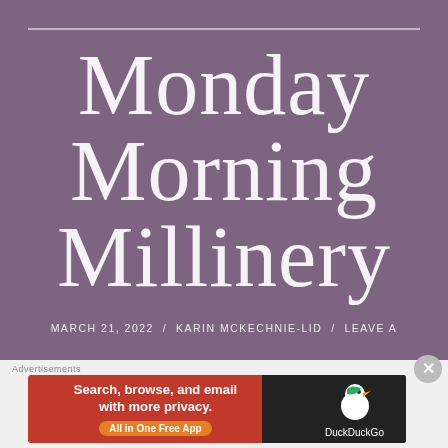Monday Morning Millinery
MARCH 21, 2022 / KARIN MCKECHNIE-LID / LEAVE A
[Figure (other): DuckDuckGo advertisement banner: 'Search, browse, and email with more privacy. All in One Free App' with DuckDuckGo duck logo on dark background]